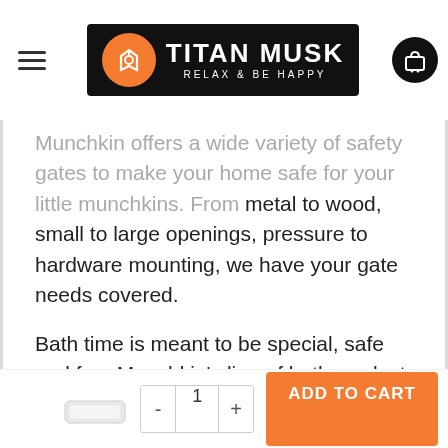[Figure (logo): Titan Musk logo — black rectangle with orange circle icon on left and white text 'TITAN MUSK' with tagline 'RELAX & BE HAPPY']
Munchkin offers a wide variety of safety gates to make your home safe for your little munchkins. From metal to wood, small to large openings, pressure to hardware mounting, we have your gate needs covered.
Bath time is meant to be special, safe and fun. Munchkin's line of bath products has everything you could possibly need to stay organized, be confident, and engage your little one's imagination. Make bathtime a splash hit every time.
Experts agree that a better latch eases the transition between breast and bottle, and back. That's why our flexible nipple stretches back to your baby offering natural latch and back. Because the everyday flexible latch. The latch